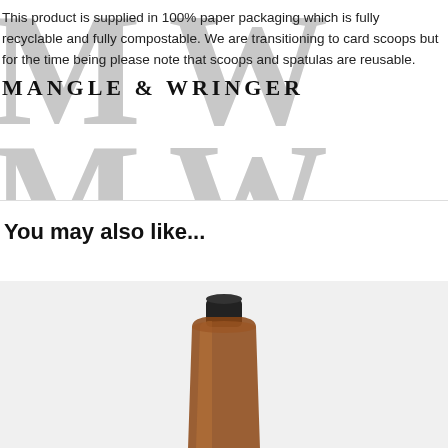This product is supplied in 100% paper packaging which is fully recyclable and fully compostable. We are transitioning to card scoops but for the time being please note that scoops and spatulas are reusable.
[Figure (logo): Mangle & Wringer watermark logo in large grey serif letters M&W overlaid behind text]
You may also like...
[Figure (photo): Photo of an amber glass/plastic bottle with a black cap, on a light grey background, partially cropped at page bottom]